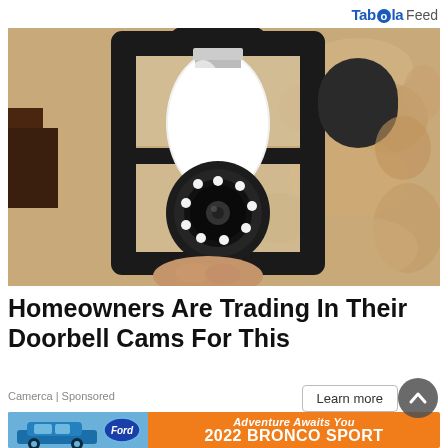Taboola Feed
[Figure (photo): A security camera shaped like a light bulb installed inside a decorative black iron outdoor lantern fixture mounted on a textured beige stucco wall. A hand is visible holding the camera device. The camera has a circular lens with LED ring visible at the bottom.]
Homeowners Are Trading In Their Doorbell Cams For This
Camerca | Sponsored
[Figure (photo): Ford 2022 Bronco Sport advertisement banner. Blue Ford Bronco Sport SUV on the left with the Ford oval logo, text reading 'Adventure Awaits You' in italic and '2022 BRONCO SPORT' in large bold white letters on an orange background.]